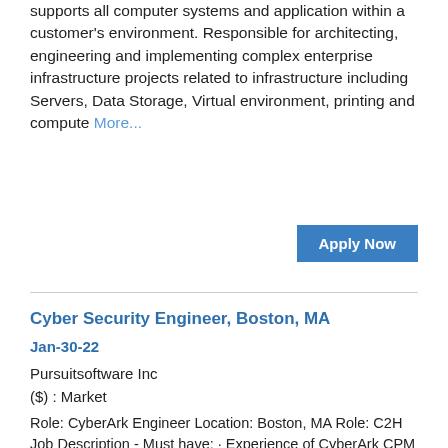supports all computer systems and application within a customer's environment. Responsible for architecting, engineering and implementing complex enterprise infrastructure projects related to infrastructure including Servers, Data Storage, Virtual environment, printing and compute More...
Apply Now
Cyber Security Engineer, Boston, MA
Jan-30-22
Pursuitsoftware Inc
($) : Market
Role: CyberArk Engineer Location: Boston, MA Role: C2H Job Description - Must have: · Experience of CyberArk CPM and EPM · Excellent understanding of Identity and Access Management. · Ability in troubleshooting & resolving PAM problems · Experience with Installing and Upgrading CyberArk suite of products (CPM, PSM, EPV, and PVWA) · Experience in integrating CyberArk with Web-based applications Responsibilities: Perform A...